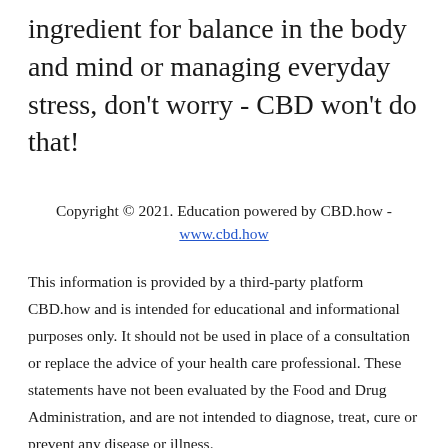ingredient for balance in the body and mind or managing everyday stress, don't worry - CBD won't do that!
Copyright © 2021. Education powered by CBD.how - www.cbd.how
This information is provided by a third-party platform CBD.how and is intended for educational and informational purposes only. It should not be used in place of a consultation or replace the advice of your health care professional. These statements have not been evaluated by the Food and Drug Administration, and are not intended to diagnose, treat, cure or prevent any disease or illness.